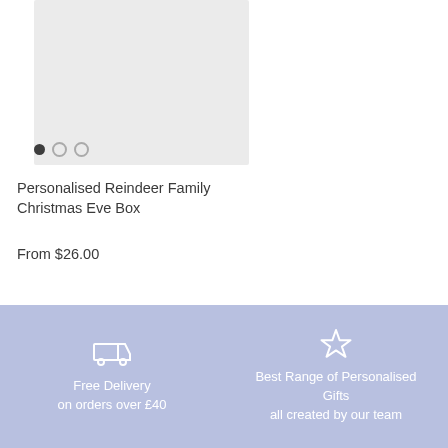[Figure (photo): Light grey product image placeholder box with three navigation dots (filled, outline, outline) at the bottom left]
Personalised Reindeer Family Christmas Eve Box
From $26.00
Free Delivery on orders over £40
Best Range of Personalised Gifts all created by our team